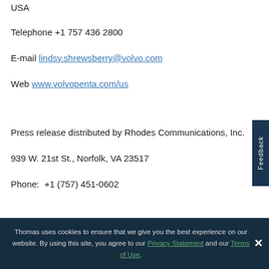USA
Telephone +1 757 436 2800
E-mail lindsy.shrewsberry@volvo.com
Web www.volvopenta.com/us
Press release distributed by Rhodes Communications, Inc.
939 W. 21st St., Norfolk, VA 23517
Phone:  +1 (757) 451-0602
Thomas uses cookies to ensure that we give you the best experience on our website. By using this site, you agree to our Privacy Statement and our Terms of Use.